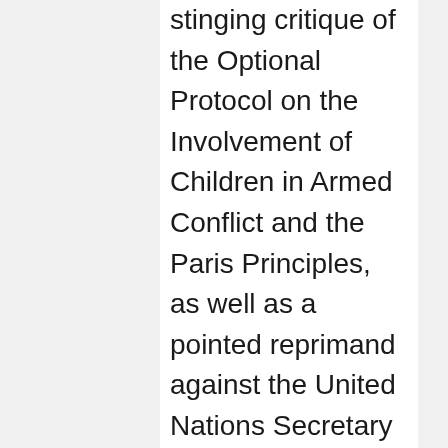stinging critique of the Optional Protocol on the Involvement of Children in Armed Conflict and the Paris Principles, as well as a pointed reprimand against the United Nations Secretary General's Special Representative on Children and Armed Conflict (UNSG SRCAC).
In its critique of the Paris Principles, the NDFP said that in the declaration's Section 1, the protocol on the